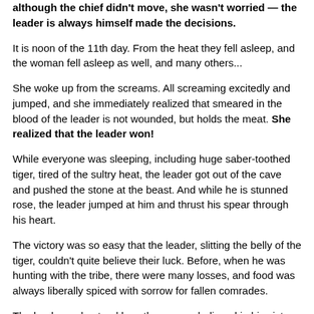although the chief didn't move, she wasn't worried — the leader is always himself made the decisions.
It is noon of the 11th day. From the heat they fell asleep, and the woman fell asleep as well, and many others...
She woke up from the screams. All screaming excitedly and jumped, and she immediately realized that smeared in the blood of the leader is not wounded, but holds the meat. She realized that the leader won!
While everyone was sleeping, including huge saber-toothed tiger, tired of the sultry heat, the leader got out of the cave and pushed the stone at the beast. And while he is stunned rose, the leader jumped at him and thrust his spear through his heart.
The victory was so easy that the leader, slitting the belly of the tiger, couldn't quite believe their luck. Before, when he was hunting with the tribe, there were many losses, and food was always liberally spiced with sorrow for fallen comrades.
The leader understood how the woman believed in his victory, the wise and he wanted to approach her.